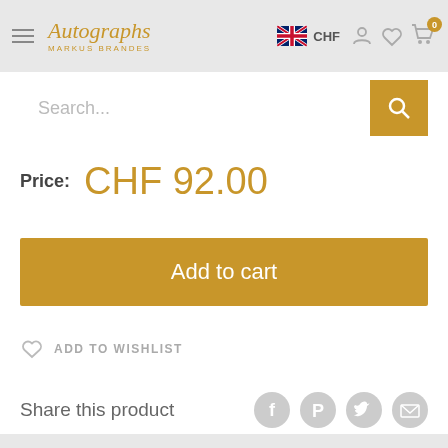Autographs Markus Brandes — CHF — navigation header
Search...
Price: CHF 92.00
Add to cart
ADD TO WISHLIST
Share this product